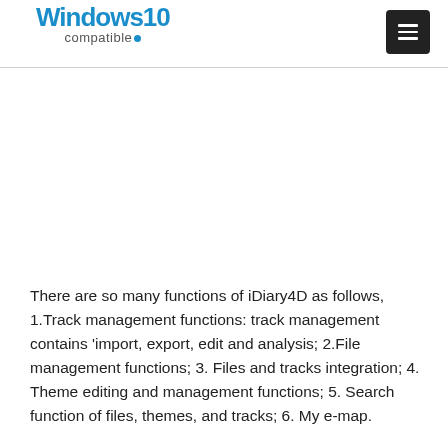Windows10 compatible
There are so many functions of iDiary4D as follows, 1.Track management functions: track management contains 'import, export, edit and analysis; 2.File management functions; 3. Files and tracks integration; 4. Theme editing and management functions; 5. Search function of files, themes, and tracks; 6. My e-map.